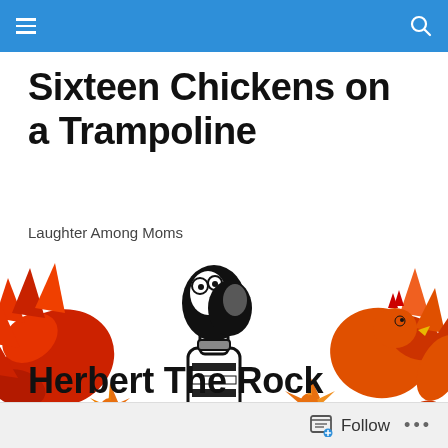Sixteen Chickens on a Trampoline
Laughter Among Moms
[Figure (illustration): Colorful illustrated banner showing cartoon chickens with red, orange, and yellow feathers surrounding a black and white cartoon character holding balloons or bottles, painted in a lively watercolor-like style]
Herbert The Rock Meets The Army
Follow ...